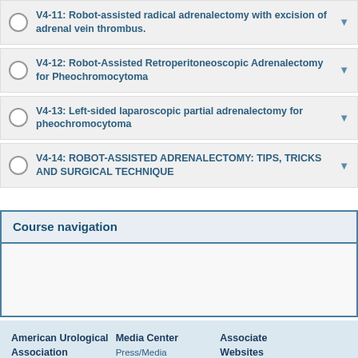V4-11: Robot-assisted radical adrenalectomy with excision of adrenal vein thrombus.
V4-12: Robot-Assisted Retroperitoneoscopic Adrenalectomy for Pheochromocytoma
V4-13: Left-sided laparoscopic partial adrenalectomy for pheochromocytoma
V4-14: ROBOT-ASSISTED ADRENALECTOMY: TIPS, TRICKS AND SURGICAL TECHNIQUE
Course navigation
American Urological Association   Media Center   Associate Websites   Press/Media